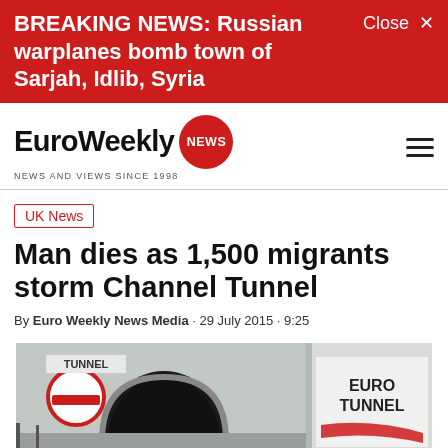BREAKING NEWS: Russian warplanes bomb town of Sarjah, Idlib, Syria
[Figure (logo): EuroWeekly NEWS logo with red circle, tagline NEWS AND VIEWS SINCE 1998]
UK News
Man dies as 1,500 migrants storm Channel Tunnel
By Euro Weekly News Media · 29 July 2015 · 9:25
[Figure (photo): Euro Tunnel entrance, showing tunnel portal and Euro Tunnel signage]